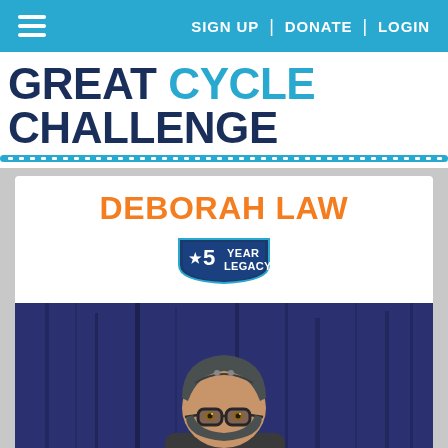≡  SIGN UP | DONATE | LOGIN
GREAT CYCLE CHALLENGE
DEBORAH LAW
[Figure (logo): 5 Year Legacy badge — shield shape with '5 YEAR LEGACY' text]
[Figure (illustration): Cartoon-style illustration of a cyclist character with glasses, helmet, and face mask on a dark blue wooden plank background]